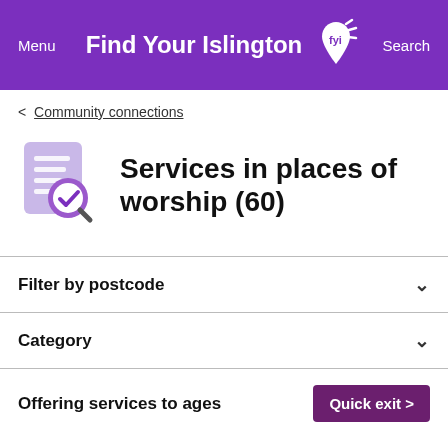Menu  Find Your Islington [FYI logo]  Search
< Community connections
Services in places of worship (60)
Filter by postcode
Category
Offering services to ages  Quick exit >